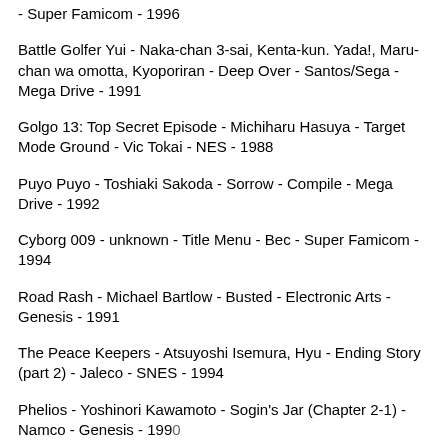- Super Famicom - 1996
Battle Golfer Yui - Naka-chan 3-sai, Kenta-kun. Yada!, Maru-chan wa omotta, Kyoporiran - Deep Over - Santos/Sega - Mega Drive - 1991
Golgo 13: Top Secret Episode - Michiharu Hasuya - Target Mode Ground - Vic Tokai - NES - 1988
Puyo Puyo - Toshiaki Sakoda - Sorrow - Compile - Mega Drive - 1992
Cyborg 009 - unknown - Title Menu - Bec - Super Famicom - 1994
Road Rash - Michael Bartlow - Busted - Electronic Arts - Genesis - 1991
The Peace Keepers - Atsuyoshi Isemura, Hyu - Ending Story (part 2) - Jaleco - SNES - 1994
Phelios - Yoshinori Kawamoto - Sogin's Jar (Chapter 2-1) - Namco - Genesis - 1990